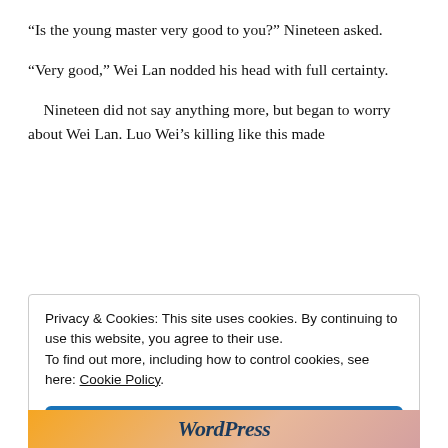“Is the young master very good to you?” Nineteen asked.
“Very good,” Wei Lan nodded his head with full certainty.
Nineteen did not say anything more, but began to worry about Wei Lan. Luo Wei’s killing like this made
Privacy & Cookies: This site uses cookies. By continuing to use this website, you agree to their use.
To find out more, including how to control cookies, see here: Cookie Policy
Close and accept
[Figure (logo): WordPress logo text in dark blue italic serif font on a warm gradient background]